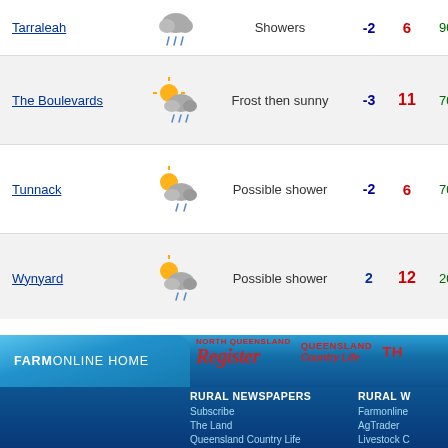| Location | Icon | Description | Min | Max | Prob | Rain |
| --- | --- | --- | --- | --- | --- | --- |
| Tarraleah |  | Showers | -2 | 6 | 90% | 5-10mm |
| The Boulevards |  | Frost then sunny | -3 | 11 | 70% | < 1mm |
| Tunnack |  | Possible shower | -2 | 6 | 70% | < 1mm |
| Wynyard |  | Possible shower | 2 | 12 | 20% | < 1mm |
[Figure (screenshot): FarmOnline Home navigation tab with blue gradient background]
[Figure (logo): North Queensland Register logo in red italic serif font]
[Figure (logo): Queensland Country Life logo in red bold font]
[Figure (logo): THE (partial) logo in red bold font]
RURAL NEWSPAPERS
Subscribe
The Land
Queensland Country Life
Farm Weekly
Stock & Land
Stock Journal
North Queensland Register
RURAL W
Farmonline
AgTrader
Livestock C
Rural Prop
Horse Dea
The Austra